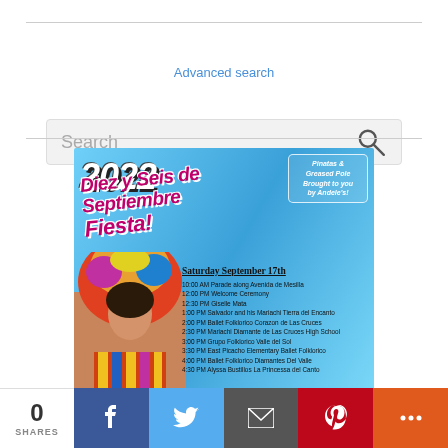[Figure (screenshot): Website screenshot showing a search bar with 'Search' placeholder text and a magnifying glass icon, followed by an 'Advanced search' link below it, with horizontal dividers.]
[Figure (illustration): Event poster for 2022 Diez y Seis de Septiembre Fiesta with blue background, featuring large stylized purple text, a photo of a girl in traditional Mexican costume with colorful headdress, schedule of events for Saturday September 17th, and a cartoon character with text about Pinatas & Greased Pole brought to you by Andele's.]
Saturday September 17th
10:00 AM Parade along Avenida de Mesilla
12:00 PM Welcome Ceremony
12:30 PM Giselle Mata
1:00 PM Salvador and his Mariachi Tierra del Encanto
2:00 PM Ballet Folklorico Corazon de Las Cruces
2:30 PM Mariachi Diamante de Las Cruces High School
3:00 PM Grupo Folklorico Valle del Sol
3:30 PM East Picacho Elementary Ballet Folklorico
4:00 PM Ballet Folklorico Diamantes Del Valle
4:30 PM Alyssa Bustillos La Princessa del Canto
[Figure (infographic): Social sharing bar at the bottom showing 0 SHARES, and buttons for Facebook (blue), Twitter (light blue), Email (dark gray), Pinterest (red), and More (orange).]